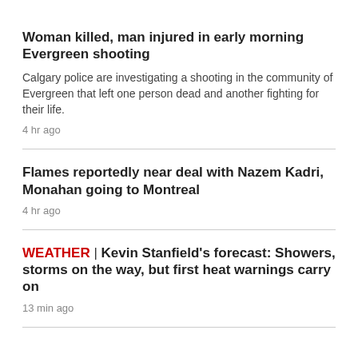Woman killed, man injured in early morning Evergreen shooting
Calgary police are investigating a shooting in the community of Evergreen that left one person dead and another fighting for their life.
4 hr ago
Flames reportedly near deal with Nazem Kadri, Monahan going to Montreal
4 hr ago
WEATHER | Kevin Stanfield's forecast: Showers, storms on the way, but first heat warnings carry on
13 min ago